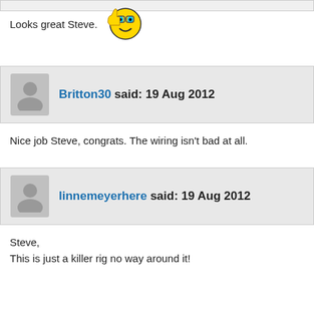Looks great Steve. 😊
Britton30 said: 19 Aug 2012
Nice job Steve, congrats. The wiring isn't bad at all.
linnemeyerhere said: 19 Aug 2012
Steve,
This is just a killer rig no way around it!